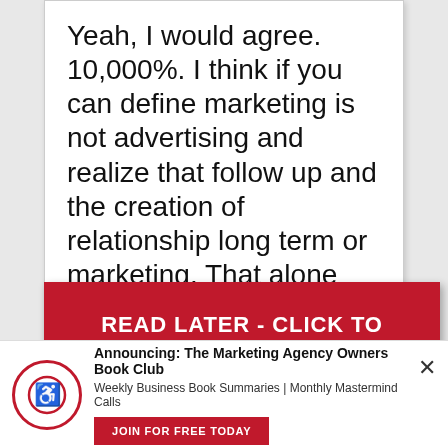Yeah, I would agree. 10,000%. I think if you can define marketing is not advertising and realize that follow up and the creation of relationship long term or marketing. That alone changes the game that people are playing.
READ LATER - CLICK TO DOWNLOAD THIS POST AS PDF
Announcing: The Marketing Agency Owners Book Club
Weekly Business Book Summaries | Monthly Mastermind Calls
JOIN FOR FREE TODAY